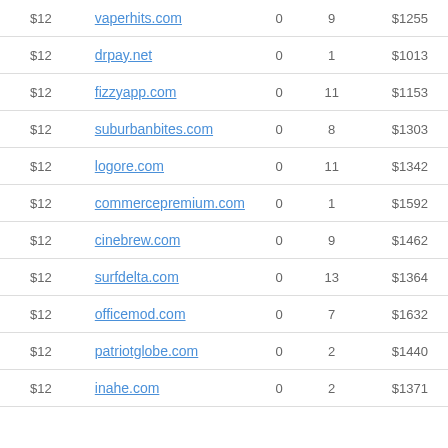| Price | Domain | Col1 | Col2 | Value |
| --- | --- | --- | --- | --- |
| $12 | vaperhits.com | 0 | 9 | $1255 |
| $12 | drpay.net | 0 | 1 | $1013 |
| $12 | fizzyapp.com | 0 | 11 | $1153 |
| $12 | suburbanbites.com | 0 | 8 | $1303 |
| $12 | logore.com | 0 | 11 | $1342 |
| $12 | commercepremium.com | 0 | 1 | $1592 |
| $12 | cinebrew.com | 0 | 9 | $1462 |
| $12 | surfdelta.com | 0 | 13 | $1364 |
| $12 | officemod.com | 0 | 7 | $1632 |
| $12 | patriotglobe.com | 0 | 2 | $1440 |
| $12 | inahe.com | 0 | 2 | $1371 |